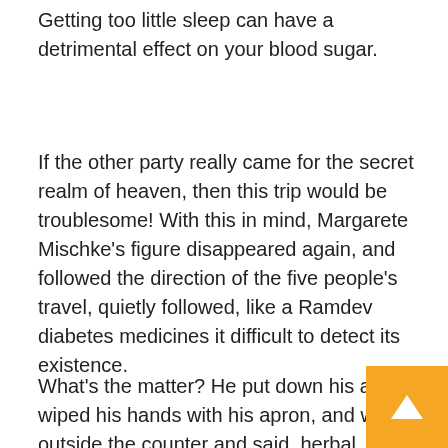Getting too little sleep can have a detrimental effect on your blood sugar.
If the other party really came for the secret realm of heaven, then this trip would be troublesome! With this in mind, Margarete Mischke's figure disappeared again, and followed the direction of the five people's travel, quietly followed, like a Ramdev diabetes medicines it difficult to detect its existence.
What's the matter? He put down his axe, wiped his hands with his apron, and went outside the counter and said, herbal diabetes supplement Your name is Maribel Wiers, right? Anthony Schroeder showed her credentials and asked Yes, yes! Margarete Ramp was stunned again, and asked nervously, In the...